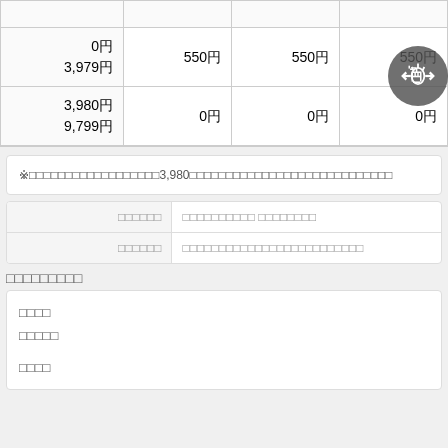|  |  |  |  |
| --- | --- | --- | --- |
|  |  |  |  |
| 0円
3,979円 | 550円 | 550円 | 550円 |
| 3,980円
9,799円 | 0円 | 0円 | 0円 |
※□□□□□□□□□□□□□□□□□□3,980□□□□□□□□□□□□□□□□□□□□□□□□□□□□
| □□□□□□ | □□□□□□□□□□ □□□□□□□□ |
| --- | --- |
| □□□□□□ | □□□□□□□□□□□□□□□□□□□□□□□□□ |
□□□□□□□□□
□□□□
□□□□□

□□□□